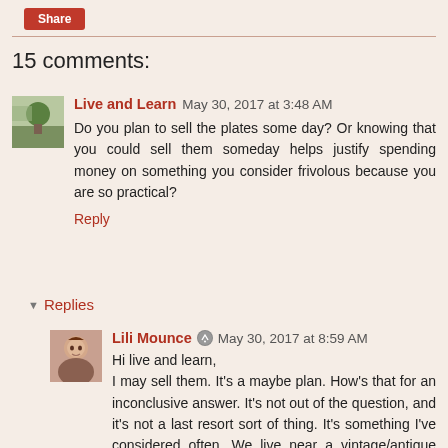Share
15 comments:
Live and Learn  May 30, 2017 at 3:48 AM
Do you plan to sell the plates some day? Or knowing that you could sell them someday helps justify spending money on something you consider frivolous because you are so practical?
Reply
Replies
Lili Mounce  May 30, 2017 at 8:59 AM
Hi live and learn,
I may sell them. It's a maybe plan. How's that for an inconclusive answer. It's not out of the question, and it's not a last resort sort of thing. It's something I've considered often. We live near a vintage/antique district and I think about